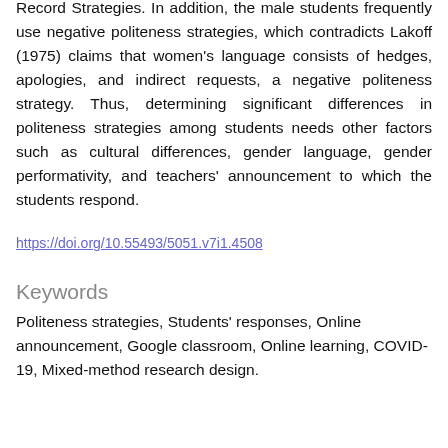Record Strategies. In addition, the male students frequently use negative politeness strategies, which contradicts Lakoff (1975) claims that women's language consists of hedges, apologies, and indirect requests, a negative politeness strategy. Thus, determining significant differences in politeness strategies among students needs other factors such as cultural differences, gender language, gender performativity, and teachers' announcement to which the students respond.
https://doi.org/10.55493/5051.v7i1.4508
Keywords
Politeness strategies, Students' responses, Online announcement, Google classroom, Online learning, COVID-19, Mixed-method research design.